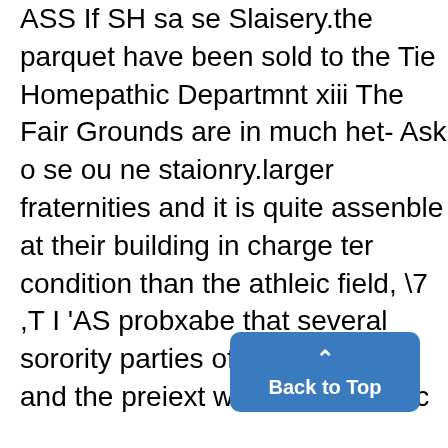ASS If SH sa se Slaisery.the parquet have been sold to the Tie Homepathic Departmnt xiii The Fair Grounds are in much het- Ask o se ou ne staionry.larger fraternities and it is quite assenble at their building in charge ter condition than the athleic field, \7 ,T I 'AS probxabe that several sorority parties of Dr. Copeand and the preiext wihi nieyudrwtr rc wilattenid. A big crowd ofDetroit of the senior case, tice this afternoon will e at the society people are negotiating for - Fair Grounds, amd if the present ANN ARBOR seats. A number of seats. Dents from the Mineral Chap...
[Figure (other): Blue 'Back to Top' button with upward arrow chevron]